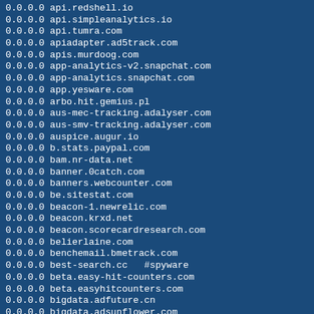0.0.0.0 api.redshell.io
0.0.0.0 api.simpleanalytics.io
0.0.0.0 api.tumra.com
0.0.0.0 apiadapter.ad5track.com
0.0.0.0 apis.murdoog.com
0.0.0.0 app-analytics-v2.snapchat.com
0.0.0.0 app-analytics.snapchat.com
0.0.0.0 app.yesware.com
0.0.0.0 arbo.hit.gemius.pl
0.0.0.0 aus-mec-tracking.adalyser.com
0.0.0.0 aus-smv-tracking.adalyser.com
0.0.0.0 auspice.augur.io
0.0.0.0 b.stats.paypal.com
0.0.0.0 bam.nr-data.net
0.0.0.0 banner.0catch.com
0.0.0.0 banners.webcounter.com
0.0.0.0 be.sitestat.com
0.0.0.0 beacon-1.newrelic.com
0.0.0.0 beacon.krxd.net
0.0.0.0 beacon.scorecardresearch.com
0.0.0.0 belierlaine.com
0.0.0.0 benchemail.bmetrack.com
0.0.0.0 best-search.cc   #spyware
0.0.0.0 beta.easy-hit-counters.com
0.0.0.0 beta.easyhitcounters.com
0.0.0.0 bigdata.adfuture.cn
0.0.0.0 bigdata.adsunflower.com
0.0.0.0 bigdata.adups.com
0.0.0.0 bigdata.advmob.cn
0.0.0.0 bindedge.com
0.0.0.0 bindfast.com
0.0.0.0 bkrtx.com